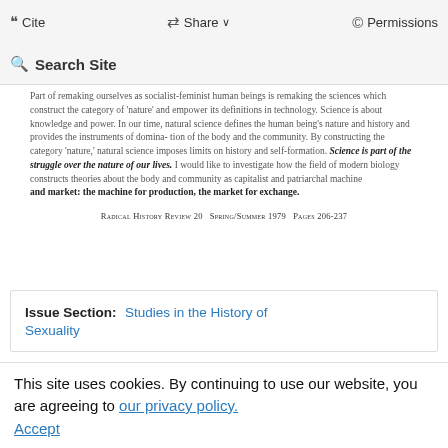Cite  Share  Permissions
Search Site
Part of remaking ourselves as socialist-feminist human beings is remaking the sciences which construct the category of 'nature' and empower its definitions in technology. Science is about knowledge and power. In our time, natural science defines the human being's nature and history and provides the instruments of domination of the body and the community. By constructing the category 'nature,' natural science imposes limits on history and self-formation. Science is part of the struggle over the nature of our lives. I would like to investigate how the field of modern biology constructs theories about the body and community as capitalist and patriarchal machine and market: the machine for production, the market for exchange.
Radical History Review 20   Spring/Summer 1979   Pages 206-237
Issue Section: Studies in the History of Sexuality
You do not currently have access to this content
This site uses cookies. By continuing to use our website, you are agreeing to our privacy policy. Accept